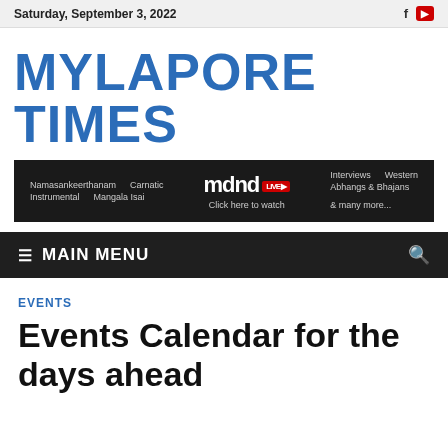Saturday, September 3, 2022
MYLAPORE TIMES
[Figure (infographic): Dark banner advertisement for mdnd LIVE music streaming platform listing categories: Namasankeerthanam, Carnatic, Instrumental, Mangala Isai, Interviews, Western, Abhangs & Bhajans, and many more. Click here to watch.]
≡ MAIN MENU
EVENTS
Events Calendar for the days ahead